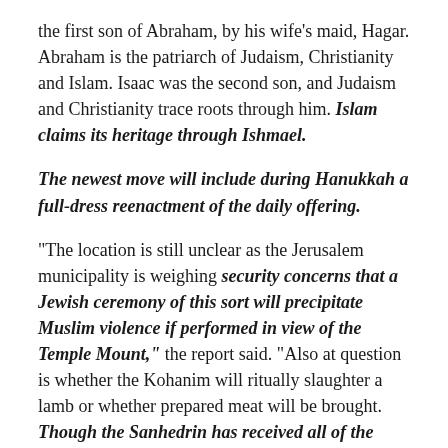the first son of Abraham, by his wife's maid, Hagar. Abraham is the patriarch of Judaism, Christianity and Islam. Isaac was the second son, and Judaism and Christianity trace roots through him. Islam claims its heritage through Ishmael.
The newest move will include during Hanukkah a full-dress reenactment of the daily offering.
“The location is still unclear as the Jerusalem municipality is weighing security concerns that a Jewish ceremony of this sort will precipitate Muslim violence if performed in view of the Temple Mount,” the report said. “Also at question is whether the Kohanim will ritually slaughter a lamb or whether prepared meat will be brought. Though the Sanhedrin has received all of the necessary permits from the government organizations in charge of